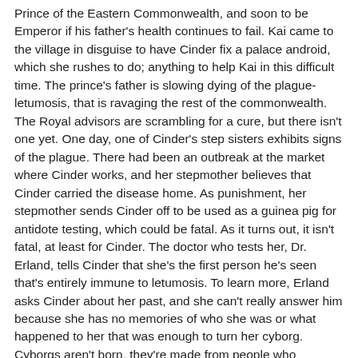Prince of the Eastern Commonwealth, and soon to be Emperor if his father's health continues to fail. Kai came to the village in disguise to have Cinder fix a palace android, which she rushes to do; anything to help Kai in this difficult time. The prince's father is slowing dying of the plague- letumosis, that is ravaging the rest of the commonwealth. The Royal advisors are scrambling for a cure, but there isn't one yet. One day, one of Cinder's step sisters exhibits signs of the plague. There had been an outbreak at the market where Cinder works, and her stepmother believes that Cinder carried the disease home. As punishment, her stepmother sends Cinder off to be used as a guinea pig for antidote testing, which could be fatal. As it turns out, it isn't fatal, at least for Cinder. The doctor who tests her, Dr. Erland, tells Cinder that she's the first person he's seen that's entirely immune to letumosis. To learn more, Erland asks Cinder about her past, and she can't really answer him because she has no memories of who she was or what happened to her that was enough to turn her cyborg. Cyborgs aren't born, they're made from people who undergo terrible ordeals too horrific to be survived by a 100% human. While Cinder's being tested, there's a lot of scrambling going on in the bureaucracy of